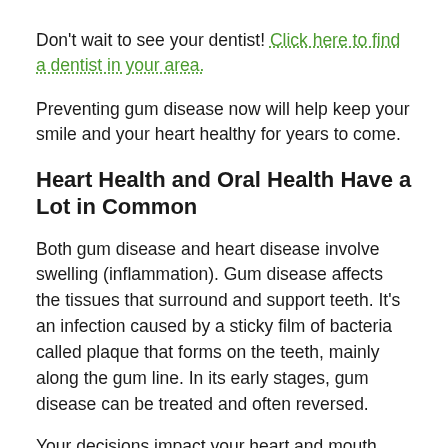Don't wait to see your dentist! Click here to find a dentist in your area.
Preventing gum disease now will help keep your smile and your heart healthy for years to come.
Heart Health and Oral Health Have a Lot in Common
Both gum disease and heart disease involve swelling (inflammation). Gum disease affects the tissues that surround and support teeth. It's an infection caused by a sticky film of bacteria called plaque that forms on the teeth, mainly along the gum line. In its early stages, gum disease can be treated and often reversed.
Your decisions impact your heart and mouth. Smoking is a major cause of heart disease, and it's estimated